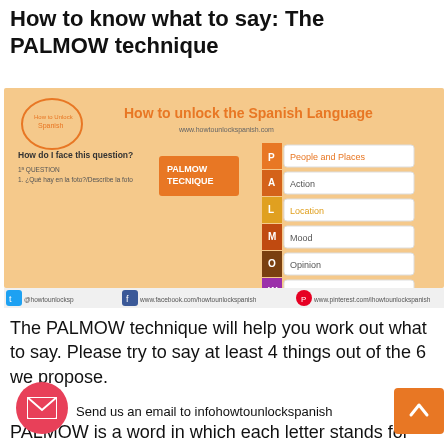How to know what to say: The PALMOW technique
[Figure (infographic): PALMOW technique infographic showing 'How to unlock the Spanish Language' with a chevron/arrow diagram listing P=People and Places, A=Action, L=Location, M=Mood, O=Opinion, W=Weather. Includes social media links at bottom.]
The PALMOW technique will help you work out what to say. Please try to say at least 4 things out of the 6 we propose.
Send us an email to infohowtounlockspanish
PALMOW is a word in which each letter stands for one of the 6 things you should